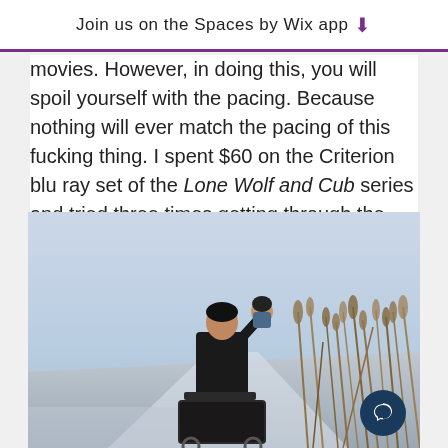Join us on the Spaces by Wix app
movies. However, in doing this, you will spoil yourself with the pacing. Because nothing will ever match the pacing of this fucking thing. I spent $60 on the Criterion blu ray set of the Lone Wolf and Cub series and tried three times getting through the first movie, before just giving up and gifting the set to a friend.
[Figure (photo): A man in dark clothing pushing a cart/pram along a path, with dry reeds/grasses on the right side, in a misty outdoor scene — still from the Lone Wolf and Cub film series.]